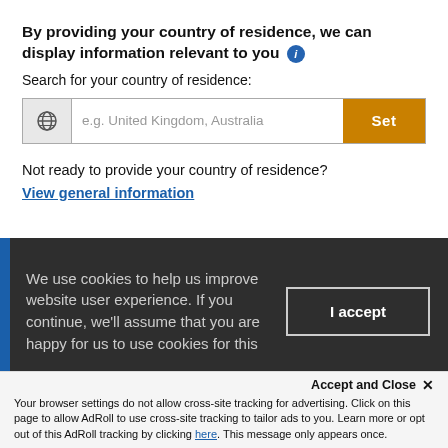By providing your country of residence, we can display information relevant to you [i]
Search for your country of residence:
[Figure (screenshot): Search input field with globe icon placeholder text 'e.g. United Kingdom, Australia' and orange 'Set' button]
Not ready to provide your country of residence?
View general information
We use cookies to help us improve website user experience. If you continue, we'll assume that you are happy for us to use cookies for this
I accept
Accept and Close ×
Your browser settings do not allow cross-site tracking for advertising. Click on this page to allow AdRoll to use cross-site tracking to tailor ads to you. Learn more or opt out of this AdRoll tracking by clicking here. This message only appears once.